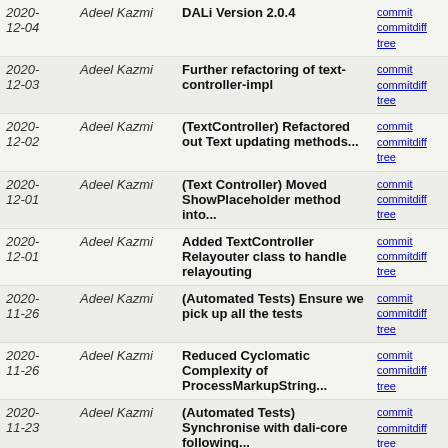| Date | Author | Message | Links |
| --- | --- | --- | --- |
| 2020-12-04 | Adeel Kazmi | DALi Version 2.0.4 | commit | commitdiff | tree |
| 2020-12-03 | Adeel Kazmi | Further refactoring of text-controller-impl | commit | commitdiff | tree |
| 2020-12-02 | Adeel Kazmi | (TextController) Refactored out Text updating methods... | commit | commitdiff | tree |
| 2020-12-01 | Adeel Kazmi | (Text Controller) Moved ShowPlaceholder method into... | commit | commitdiff | tree |
| 2020-12-01 | Adeel Kazmi | Added TextController Relayouter class to handle relayouting | commit | commitdiff | tree |
| 2020-11-26 | Adeel Kazmi | (Automated Tests) Ensure we pick up all the tests | commit | commitdiff | tree |
| 2020-11-26 | Adeel Kazmi | Reduced Cyclomatic Complexity of ProcessMarkupString... | commit | commitdiff | tree |
| 2020-11-23 | Adeel Kazmi | (Automated Tests) Synchronise with dali-core following... | commit | commitdiff | tree |
| 2020-11-17 | Wander Lairson Costa | [windows] Use unsigned for enums used as bitfields | commit | commitdiff | tree |
| 2020-11-09 | Adeel Kazmi | (patch-coverage.pl) Outputs covered and total lines... | commit | commitdiff | tree |
| 2020-11-06 | Adeel Kazmi | [dali_2.0.0] Merge branch 'devel/master' | commit | commitdiff | tree |
| 2020-11-06 | Adeel Kazmi | DALi Version 2.0.0 | commit | commitdiff | tree |
| 2020-10-22 | Adeel Kazmi | (Text Controller Impl) Moved event handling related | commit | commitdiff | tree |